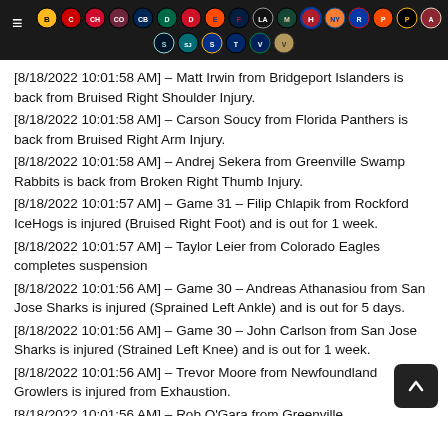NHL team navigation header with team logos
[8/18/2022 10:01:58 AM] – Matt Irwin from Bridgeport Islanders is back from Bruised Right Shoulder Injury.
[8/18/2022 10:01:58 AM] – Carson Soucy from Florida Panthers is back from Bruised Right Arm Injury.
[8/18/2022 10:01:58 AM] – Andrej Sekera from Greenville Swamp Rabbits is back from Broken Right Thumb Injury.
[8/18/2022 10:01:57 AM] – Game 31 – Filip Chlapik from Rockford IceHogs is injured (Bruised Right Foot) and is out for 1 week.
[8/18/2022 10:01:57 AM] – Taylor Leier from Colorado Eagles completes suspension
[8/18/2022 10:01:56 AM] – Game 30 – Andreas Athanasiou from San Jose Sharks is injured (Sprained Left Ankle) and is out for 5 days.
[8/18/2022 10:01:56 AM] – Game 30 – John Carlson from San Jose Sharks is injured (Strained Left Knee) and is out for 1 week.
[8/18/2022 10:01:56 AM] – Trevor Moore from Newfoundland Growlers is injured from Exhaustion.
[8/18/2022 10:01:56 AM] – Rob O'Gara from Greenville